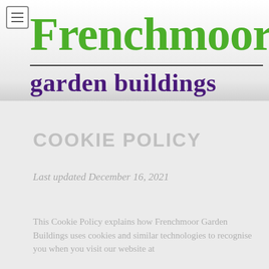[Figure (logo): Frenchmoor garden buildings logo with green 'Frenchmoor' text and purple 'garden buildings' subtitle, separated by a horizontal rule]
COOKIE POLICY
Last updated December 16, 2021
This Cookie Policy explains how Frenchmoor Garden Buildings uses cookies and similar technologies to recognise you when you visit our website at